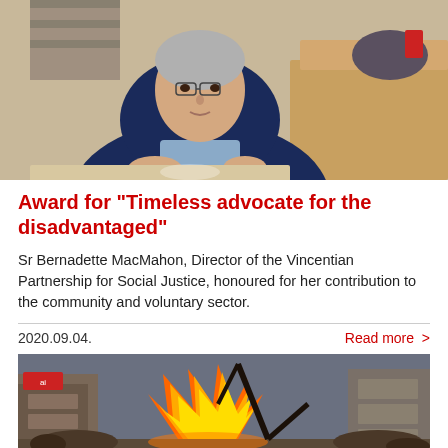[Figure (photo): A woman in a dark jacket sitting at a desk in an office setting]
Award for “Timeless advocate for the disadvantaged”
Sr Bernadette MacMahon, Director of the Vincentian Partnership for Social Justice, honoured for her contribution to the community and voluntary sector.
2020.09.04.
Read more >
[Figure (photo): A street scene with a large fire burning, crowds of people visible in the background]